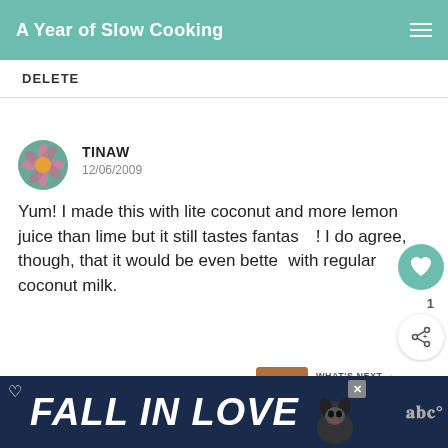A Year of Slow Cooking
DELETE
TINAW
12/06/2009
Yum! I made this with lite coconut and more lemon juice than lime but it still tastes fantastic! I do agree, though, that it would be even better with regular coconut milk.
DELETE
WHAT'S NEXT → Baked Banana Bread...
[Figure (screenshot): Advertisement banner reading FALL IN LOVE with a dog image and close button]